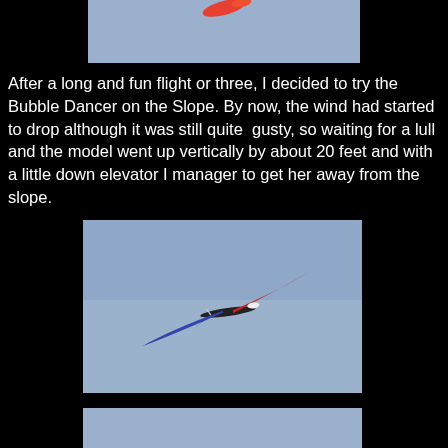[Figure (photo): Partial photo of an RC glider or kite against a blue-gray sky, cropped at top]
After a long and fun flight or three, I decided to try the Bubble Dancer on the Slope. By now, the wind had started to drop although it was still quite  gusty, so waiting for a lull and the model went up vertically by about 20 feet and with a little down elevator I manager to get her away from the slope.
[Figure (photo): RC glider (Bubble Dancer) soaring in flight against a blue-gray sky, showing the full wingspan in a banking turn with blue and red coloring]
[Figure (photo): Partial bottom photo of blue sky, cropped]